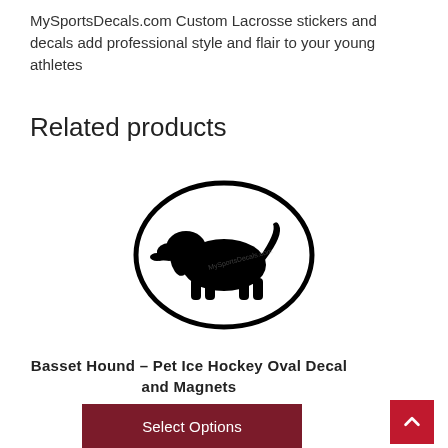MySportsDecals.com Custom Lacrosse stickers and decals add professional style and flair to your young athletes
Related products
[Figure (illustration): Black silhouette of a Basset Hound dog holding a hockey stick inside a black oval border]
Basset Hound – Pet Ice Hockey Oval Decal and Magnets
$5.00
Select Options